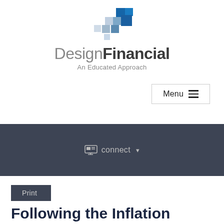[Figure (logo): Design Financial logo — pixelated cross/plus shape in blue and grey tones, with text 'DesignFinancial' and tagline 'An Educated Approach']
Menu ≡
connect ▾
Print
Following the Inflation